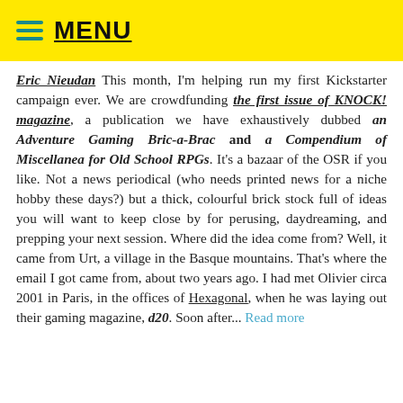MENU
By Eric Nieudan This month, I'm helping run my first Kickstarter campaign ever. We are crowdfunding the first issue of KNOCK! magazine, a publication we have exhaustively dubbed an Adventure Gaming Bric-a-Brac and a Compendium of Miscellanea for Old School RPGs. It's a bazaar of the OSR if you like. Not a news periodical (who needs printed news for a niche hobby these days?) but a thick, colourful brick stock full of ideas you will want to keep close by for perusing, daydreaming, and prepping your next session. Where did the idea come from? Well, it came from Urt, a village in the Basque mountains. That's where the email I got came from, about two years ago. I had met Olivier circa 2001 in Paris, in the offices of Hexagonal, when he was laying out their gaming magazine, d20. Soon after... Read more